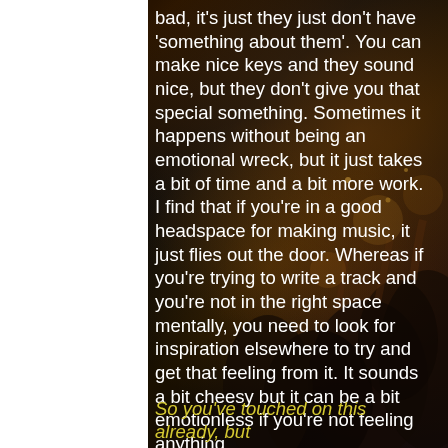[Figure (photo): Concert crowd scene with dark background, people with hands raised, warm amber/orange stage lighting in background]
bad, it's just they just don't have 'something about them'. You can make nice keys and they sound nice, but they don't give you that special something. Sometimes it happens without being an emotional wreck, but it just takes a bit of time and a bit more work. I find that if you're in a good headspace for making music, it just flies out the door. Whereas if you're trying to write a track and you're not in the right space mentally, you need to look for inspiration elsewhere to try and get that feeling from it. It sounds a bit cheesy but it can be a bit emotionless if you're not feeling anything.
So you've touched on this already, but